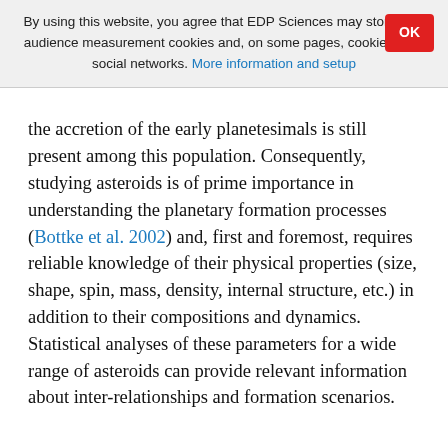By using this website, you agree that EDP Sciences may store web audience measurement cookies and, on some pages, cookies from social networks. More information and setup
the accretion of the early planetesimals is still present among this population. Consequently, studying asteroids is of prime importance in understanding the planetary formation processes (Bottke et al. 2002) and, first and foremost, requires reliable knowledge of their physical properties (size, shape, spin, mass, density, internal structure, etc.) in addition to their compositions and dynamics. Statistical analyses of these parameters for a wide range of asteroids can provide relevant information about inter-relationships and formation scenarios.
In this respect, our observing program with adaptive optics, allowing diffraction-limited observations from